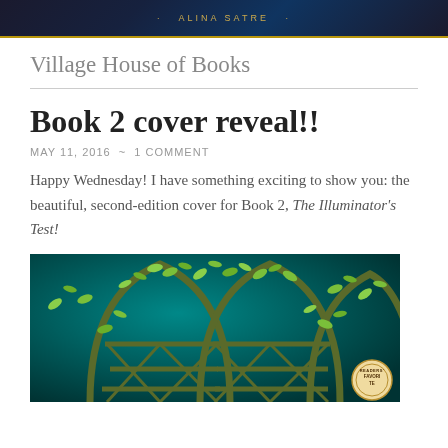[Figure (photo): Dark blue/purple book cover header image with author name ALINA SATRE in gold uppercase letters centered, with dots on either side, on a dark starry background with a gold decorative border at the bottom]
Village House of Books
Book 2 cover reveal!!
MAY 11, 2016  ~  1 COMMENT
Happy Wednesday! I have something exciting to show you: the beautiful, second-edition cover for Book 2, The Illuminator's Test!
[Figure (photo): Book cover image showing a teal/dark green background with an ornate latticed gate or trellis covered in green leafy vines and branches. A Reader's Favorite badge/seal is visible in the bottom right corner.]